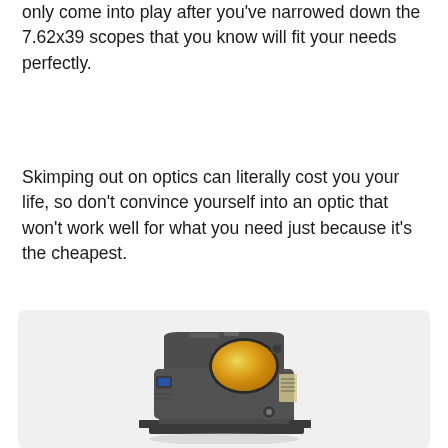only come into play after you've narrowed down the 7.62x39 scopes that you know will fit your needs perfectly.
Skimping out on optics can literally cost you your life, so don't convince yourself into an optic that won't work well for what you need just because it's the cheapest.
[Figure (photo): A black compact red dot sight / reflex sight optic with a yellow-green tinted lens, shown at an angle on a light gray background.]